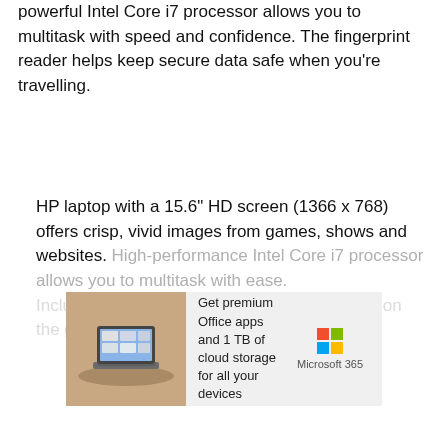powerful Intel Core i7 processor allows you to multitask with speed and confidence. The fingerprint reader helps keep secure data safe when you're travelling.
HP laptop with a 15.6" HD screen (1366 x 768) offers crisp, vivid images from games, shows and websites. High-performance Intel Core i7 processor allows you to multitask with ease. Includes 8GB of ram and has a you need and on the go
Show More
[Figure (other): Microsoft 365 advertisement banner showing a laptop on a table with text 'Get premium Office apps and 1 TB of cloud storage for all your devices' and Microsoft 365 logo]